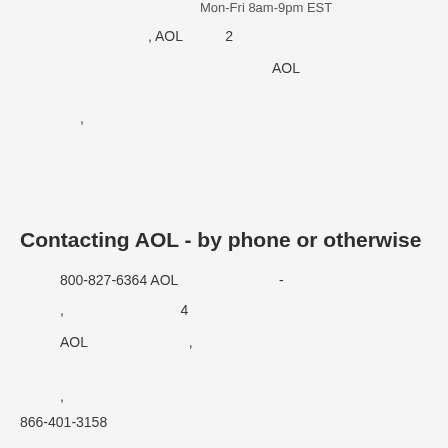Mon-Fri 8am-9pm EST
, AOL          2
AOL
,
Contacting AOL - by phone or otherwise
800-827-6364 AOL                               -
,                                        4
AOL                                    ,
,
866-401-3158